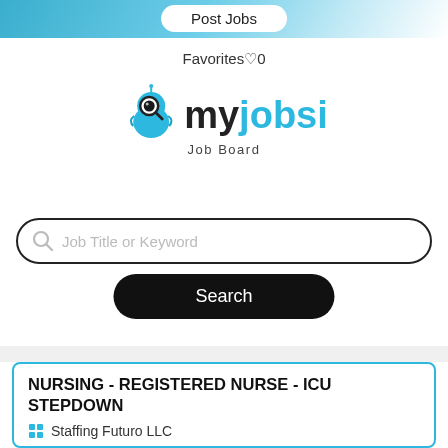Post Jobs
Favorites ♡ 0
[Figure (logo): myjobsi Job Board logo with bird mascot holding magnifying glass]
Job Title or Keyword
Search
NURSING - REGISTERED NURSE - ICU STEPDOWN
Staffing Futuro LLC